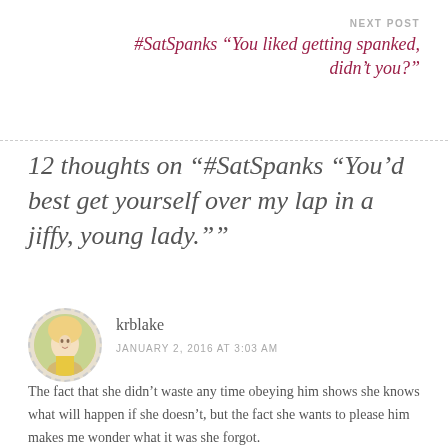NEXT POST
#SatSpanks “You liked getting spanked, didn’t you?”
12 thoughts on “#SatSpanks “You’d best get yourself over my lap in a jiffy, young lady.””
krblake
JANUARY 2, 2016 AT 3:03 AM
The fact that she didn’t waste any time obeying him shows she knows what will happen if she doesn’t, but the fact she wants to please him makes me wonder what it was she forgot.